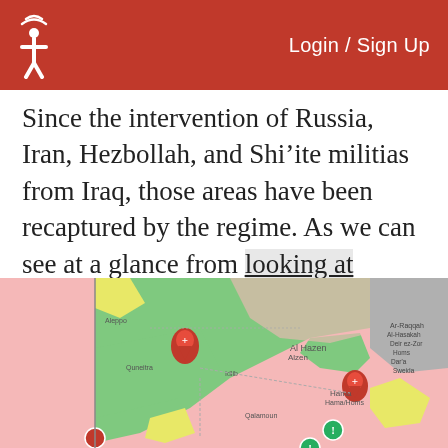Login / Sign Up
Since the intervention of Russia, Iran, Hezbollah, and Shi’ite militias from Iraq, those areas have been recaptured by the regime. As we can see at a glance from looking at LiveUAMap, which places developing news on a map, this attack puts a key Assad stronghold in a pincer:
[Figure (map): A LiveUAMap screenshot showing a military situation map of Syria with color-coded territorial control areas in green, pink/red, yellow, and gray, with location markers.]